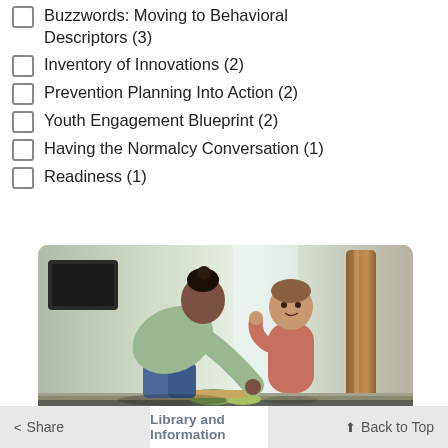Buzzwords: Moving to Behavioral Descriptors (3)
Inventory of Innovations (2)
Prevention Planning Into Action (2)
Youth Engagement Blueprint (2)
Having the Normalcy Conversation (1)
Readiness (1)
[Figure (photo): A woman leaning over a kitchen counter preparing food while a toddler stands nearby eating. A wooden cutting board is visible in the background.]
< Share   Library and Information   ↑ Back to Top